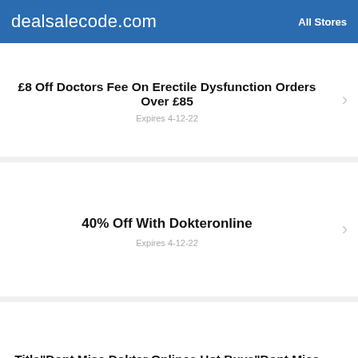dealsalecode.com   All Stores
£8 Off Doctors Fee On Erectile Dysfunction Orders Over £85
Expires 4-12-22
40% Off With Dokteronline
Expires 4-12-22
Title"Dont Miss Dokter Onlines Hot Buys"Dont Miss Dokter Onlines Hot Buys
Expires 4-11-22